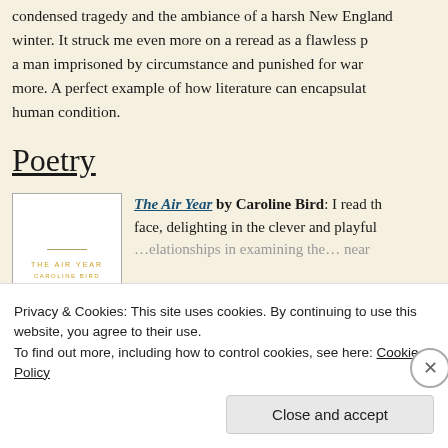condensed tragedy and the ambiance of a harsh New England winter. It struck me even more on a reread as a flawless portrait of a man imprisoned by circumstance and punished for wanting more. A perfect example of how literature can encapsulate the human condition.
Poetry
[Figure (illustration): Book cover of 'The Air Year' by Caroline Bird. White cover with gold/yellow text and a decorative line.]
The Air Year by Caroline Bird: I read this face, delighting in the clever and playful relationships in examining the...
Privacy & Cookies: This site uses cookies. By continuing to use this website, you agree to their use.
To find out more, including how to control cookies, see here: Cookie Policy
Close and accept